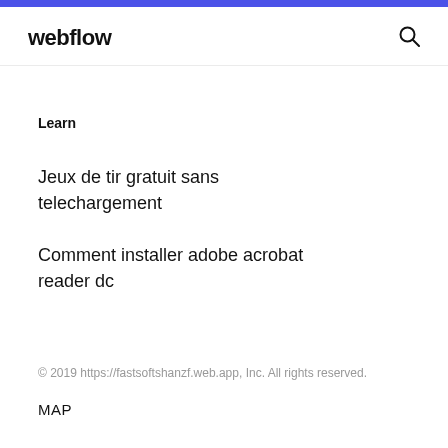webflow
Learn
Jeux de tir gratuit sans telechargement
Comment installer adobe acrobat reader dc
© 2019 https://fastsoftshanzf.web.app, Inc. All rights reserved.
MAP